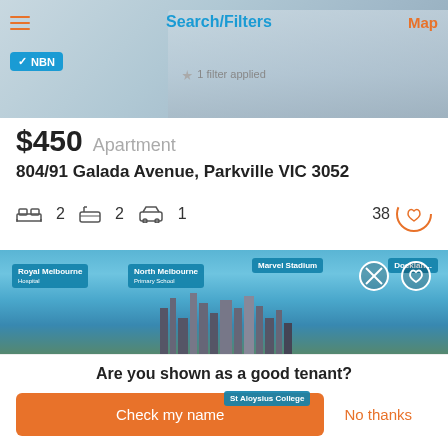Search/Filters | Map
[Figure (screenshot): Top banner image of apartment building, with hamburger menu, Search/Filters title, Map link, NBN badge, and 1 filter applied text]
$450  Apartment
804/91 Galada Avenue, Parkville VIC 3052
2 bedrooms  2 bathrooms  1 car  38 saves
[Figure (screenshot): Aerial city panorama of Melbourne with location labels: Royal Melbourne Hospital, North Melbourne Primary School, Marvel Stadium, Docklands, St Aloysius College]
Are you shown as a good tenant?
Check my name
No thanks